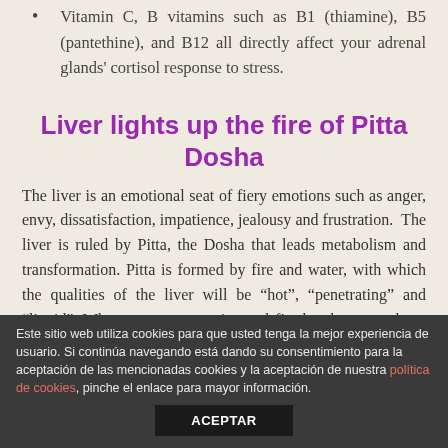Vitamin C, B vitamins such as B1 (thiamine), B5 (pantethine), and B12 all directly affect your adrenal glands' cortisol response to stress.
Liver lights up the fire of Pitta Dosha
The liver is an emotional seat of fiery emotions such as anger, envy, dissatisfaction, impatience, jealousy and frustration. The liver is ruled by Pitta, the Dosha that leads metabolism and transformation. Pitta is formed by fire and water, with which the qualities of the liver will be “hot”, “penetrating” and “liquid”. When we get angry, internal fire breaks out and our body tries to stop
Este sitio web utiliza cookies para que usted tenga la mejor experiencia de usuario. Si continúa navegando está dando su consentimiento para la aceptación de las mencionadas cookies y la aceptación de nuestra política de cookies, pinche el enlace para mayor información.